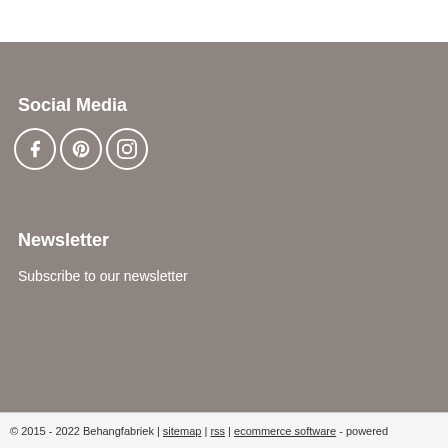Social Media
[Figure (illustration): Three social media icons in circles: Facebook (f), Pinterest (p), Instagram (camera)]
Newsletter
Subscribe to our newsletter
Subscribe
© 2015 - 2022 Behangfabriek | sitemap | rss | ecommerce software - powered